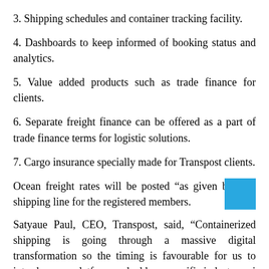3. Shipping schedules and container tracking facility.
4. Dashboards to keep informed of booking status and analytics.
5. Value added products such as trade finance for clients.
6. Separate freight finance can be offered as a part of trade finance terms for logistic solutions.
7. Cargo insurance specially made for Transpost clients.
Ocean freight rates will be posted “as given by” the shipping line for the registered members.
Satyaue Paul, CEO, Transpost, said, “Containerized shipping is going through a massive digital transformation so the timing is favourable for us to introduce our platform and address specific industry noi…